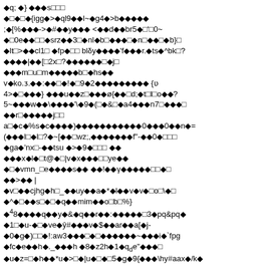Corrupted/encoded text content with diamond replacement characters interspersed with ASCII characters. The text appears to be encoded or corrupted binary/text data.